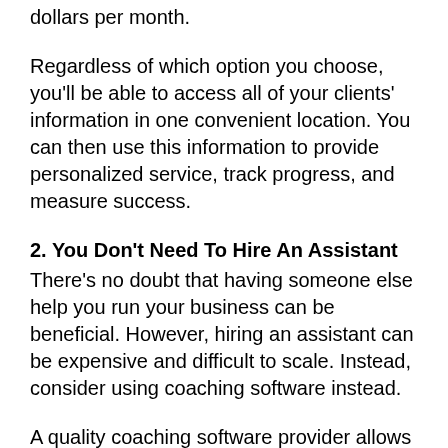dollars per month.
Regardless of which option you choose, you'll be able to access all of your clients' information in one convenient location. You can then use this information to provide personalized service, track progress, and measure success.
2. You Don't Need To Hire An Assistant
There's no doubt that having someone else help you run your business can be beneficial. However, hiring an assistant can be expensive and difficult to scale. Instead, consider using coaching software instead.
A quality coaching software provider allows you to connect with other business owners who are willing to provide assistance and support for your clients.